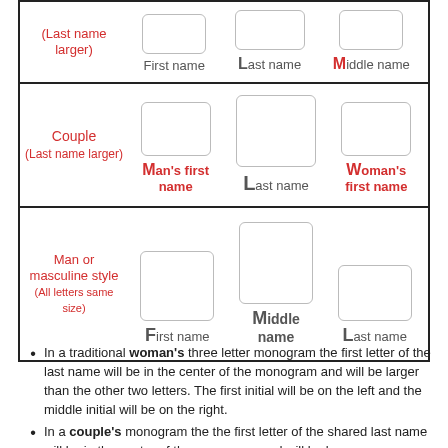[Figure (infographic): Three-row table showing monogram letter arrangements for: (1) partial row with Last name larger showing First name, Last name, Middle name boxes; (2) Couple (Last name larger) showing Man's first name, Last name, Woman's first name boxes; (3) Man or masculine style (All letters same size) showing First name, Middle name, Last name boxes.]
In a traditional woman's three letter monogram the first letter of the last name will be in the center of the monogram and will be larger than the other two letters. The first initial will be on the left and the middle initial will be on the right.
In a couple's monogram the the first letter of the shared last name will be in the center of the monogram and will be larger than the other two letters. Traditionally it is...